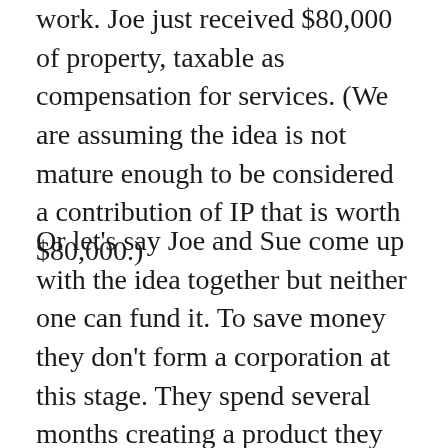work. Joe just received $80,000 of property, taxable as compensation for services. (We are assuming the idea is not mature enough to be considered a contribution of IP that is worth $80,000.)
Or let's say Joe and Sue come up with the idea together but neither one can fund it. To save money they don't form a corporation at this stage. They spend several months creating a product they think will be marketable. When they need money for proof of concept, the product is far enough along to get some investors